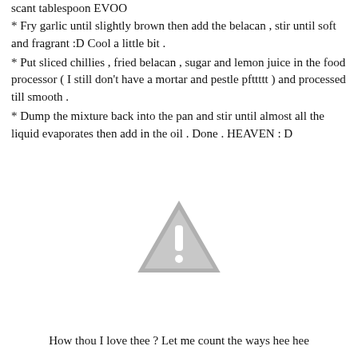scant tablespoon EVOO
* Fry garlic until slightly brown then add the belacan , stir until soft and fragrant :D Cool a little bit .
* Put sliced chillies , fried belacan , sugar and lemon juice in the food processor ( I still don't have a mortar and pestle pfttttt ) and processed till smooth .
* Dump the mixture back into the pan and stir until almost all the liquid evaporates then add in the oil . Done . HEAVEN : D
[Figure (illustration): A grey warning triangle with an exclamation mark inside]
How thou I love thee ? Let me count the ways hee hee